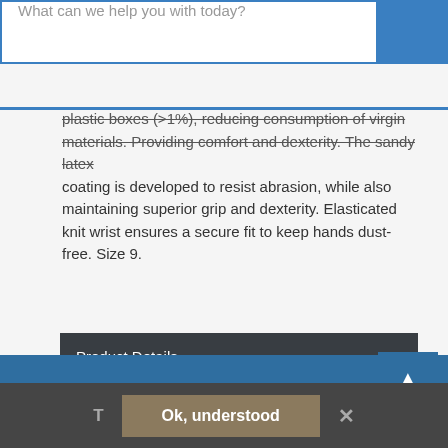[Figure (screenshot): Search bar with placeholder text 'What can we help you with today?' and a blue search button on the right]
plastic boxes (>1%), reducing consumption of virgin materials. Providing comfort and dexterity. The sandy latex coating is developed to resist abrasion, while also maintaining superior grip and dexterity. Elasticated knit wrist ensures a secure fit to keep hands dust-free. Size 9.
Product Details
Additional Documentation
People who bought this also bought
[Figure (screenshot): Cookie consent bar at bottom with 'T', 'Ok, understood' button, and 'x' close button]